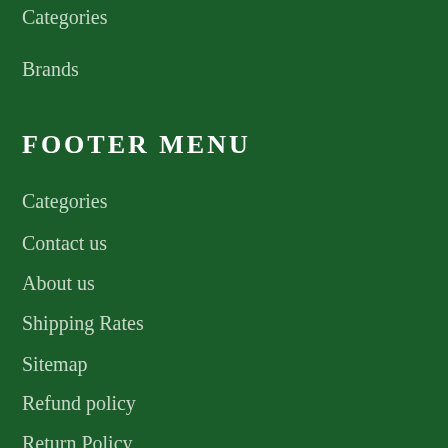Categories
Brands
FOOTER MENU
Categories
Contact us
About us
Shipping Rates
Sitemap
Refund policy
Return Policy
New Arrival Updates
Join Team Yoseka
Terms of Service